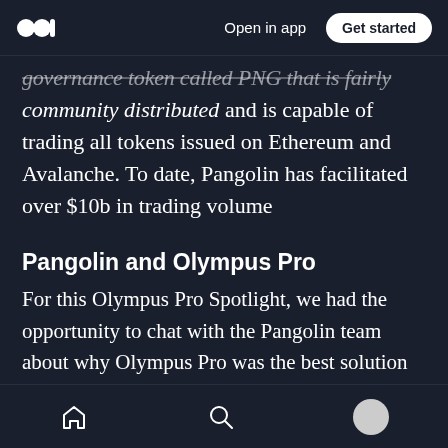Open in app | Get started
governance token called PNG that is fairly community distributed and is capable of trading all tokens issued on Ethereum and Avalanche. To date, Pangolin has facilitated over $10b in trading volume
Pangolin and Olympus Pro
For this Olympus Pro Spotlight, we had the opportunity to chat with the Pangolin team about why Olympus Pro was the best solution for their liquidity needs. Here's what they had to say:
“Pangolin is ecstatic to be one of the first
Navigation bar with home, search, and profile icons